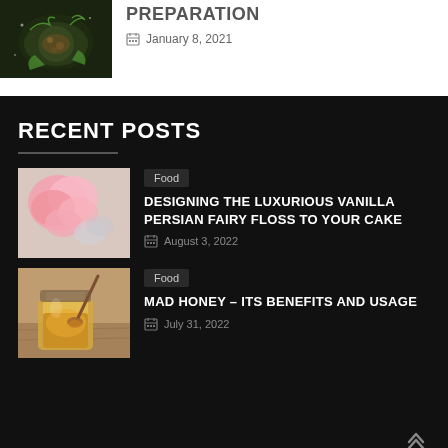[Figure (photo): Dark bowl with healthy salad/grain dish on black background]
PREPARATION
January 8, 2021
RECENT POSTS
[Figure (photo): Pink Persian fairy floss / cotton candy on striped background]
Food
DESIGNING THE LUXURIOUS VANILLA PERSIAN FAIRY FLOSS TO YOUR CAKE
August 3, 2022
[Figure (photo): Jar of honey with honey dipper on wooden surface]
Food
MAD HONEY – ITS BENEFITS AND USAGE
July 31, 2022